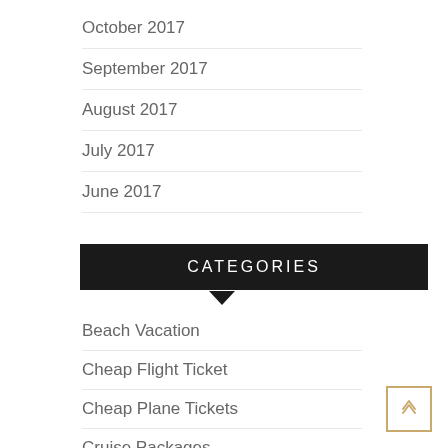October 2017
September 2017
August 2017
July 2017
June 2017
CATEGORIES
Beach Vacation
Cheap Flight Ticket
Cheap Plane Tickets
Cruise Packages